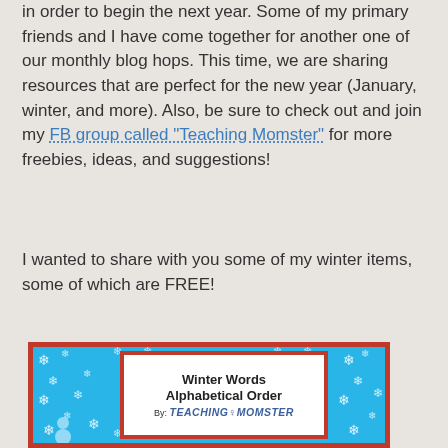in order to begin the next year.  Some of my primary friends and I have come together for another one of our monthly blog hops.  This time, we are sharing resources that are perfect for the new year (January, winter, and more).  Also, be sure to check out and join my FB group called “Teaching Momster” for more freebies, ideas, and suggestions!
I wanted to share with you some of my winter items, some of which are FREE!
[Figure (illustration): Book cover image for 'Winter Words Alphabetical Order' by Teaching Momster. Red border frame with blue snowflake background, inner white box with title text and branding.]